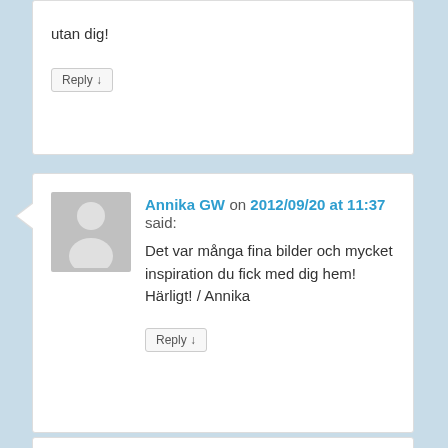utan dig!
Reply ↓
Annika GW on 2012/09/20 at 11:37 said:
Det var många fina bilder och mycket inspiration du fick med dig hem! Härligt! / Annika
Reply ↓
[Figure (photo): Profile photo of two people smiling, partially cropped at bottom of page]